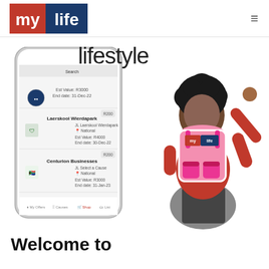my life (logo) — navigation header
[Figure (screenshot): Hero section with 'lifestyle' text, a smartphone mockup showing the my life app with cause listings (Laerskool Wierdapark R200, Centurion Businesses R200), and a child wearing a pink my life branded backpack]
Welcome to